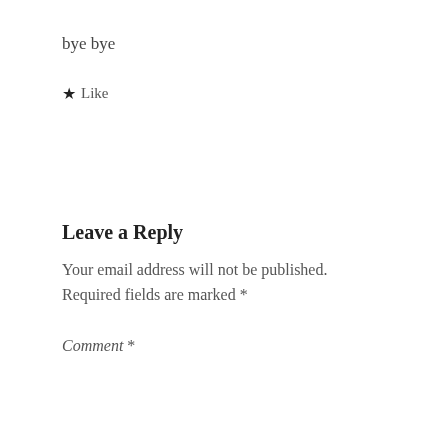bye bye
★ Like
Leave a Reply
Your email address will not be published. Required fields are marked *
Comment *